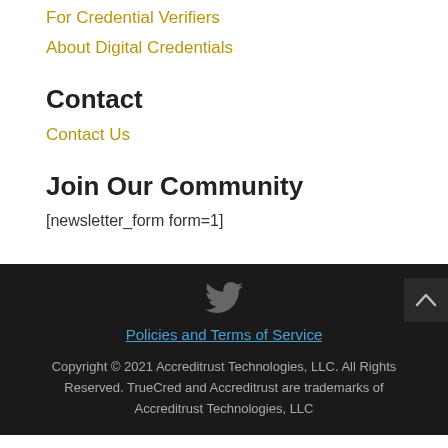For Credential Verifiers
About Digital Credentials
Contact
Contact Us
Join Our Community
[newsletter_form form=1]
[Figure (illustration): Twitter bird icon in dark gray]
Policies and Terms of Service
Copyright © 2021 Accreditrust Technologies, LLC. All Rights Reserved. TrueCred and Accreditrust are trademarks of Accreditrust Technologies, LLC